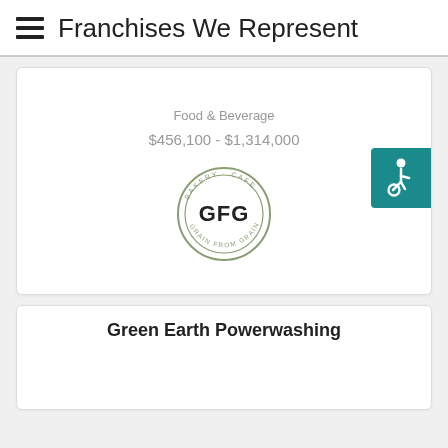≡  Franchises We Represent
Food & Beverage
$456,100 - $1,314,000
[Figure (logo): GFG circular badge logo with text 'BAKERY · CAFE' and 'GRAIN FROM GRAIN' around the border]
Green Earth Powerwashing